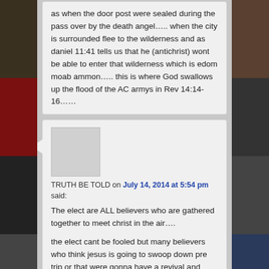as when the door post were sealed during the pass over by the death angel….. when the city is surrounded flee to the wilderness and as daniel 11:41 tells us that he (antichrist) wont be able to enter that wilderness which is edom moab ammon….. this is where God swallows up the flood of the AC armys in Rev 14:14-16……
[Figure (photo): User avatar placeholder image (blank/gray square)]
TRUTH BE TOLD on July 14, 2014 at 5:54 pm said:
The elect are ALL believers who are gathered together to meet christ in the air….
the elect cant be fooled but many believers who think jesus is going to swoop down pre trip or that were gonna have a revival and bring christ